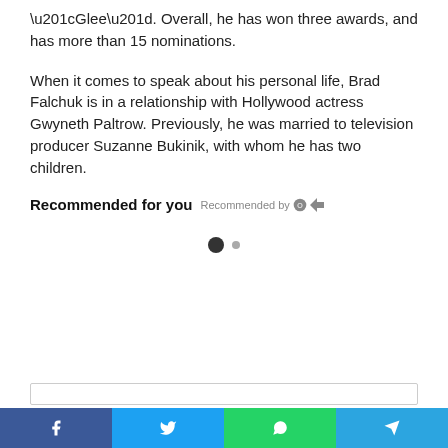“Glee”. Overall, he has won three awards, and has more than 15 nominations.
When it comes to speak about his personal life, Brad Falchuk is in a relationship with Hollywood actress Gwyneth Paltrow. Previously, he was married to television producer Suzanne Bukinik, with whom he has two children.
Recommended for you  Recommended by Outbrain
[Figure (other): Carousel navigation dots: one filled dark circle and one smaller grey dot]